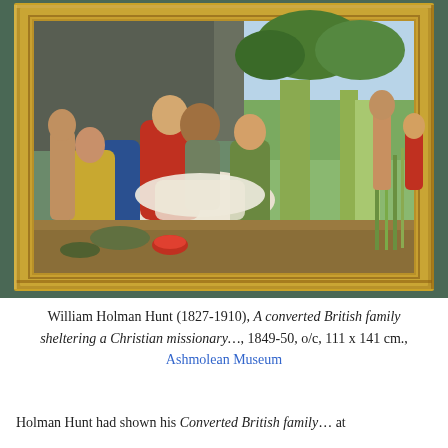[Figure (photo): A photograph of a framed oil painting by William Holman Hunt titled 'A converted British family sheltering a Christian missionary'. The painting has a prominent gold ornate frame and shows a group of figures including a prostrate man in white robes being cared for by a family, with trees and a pastoral landscape in the background. Various figures in robes of red, blue, yellow, and green are gathered around. A child lies prone on the ground in the foreground.]
William Holman Hunt (1827-1910), A converted British family sheltering a Christian missionary…, 1849-50, o/c, 111 x 141 cm., Ashmolean Museum
Holman Hunt had shown his Converted British family… at